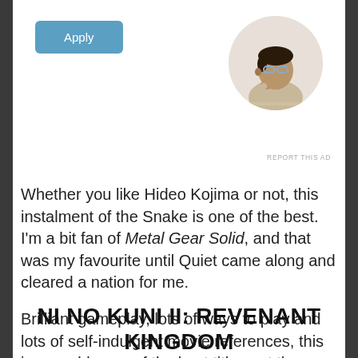[Figure (photo): Blue 'Apply' button on the left and a circular profile photo of a man sitting at a desk looking upward on the right, part of an advertisement.]
REPORT THIS AD
Whether you like Hideo Kojima or not, this instalment of the Snake is one of the best. I'm a bit fan of Metal Gear Solid, and that was my favourite until Quiet came along and cleared a nation for me.
Brilliant gameplay, lots of ways to play and lots of self-indulgent movie references, this is arguably one of the best titles out there unless you HATE Snake and his misadventures.
NI NO KUNI II: REVENANT KINGDOM